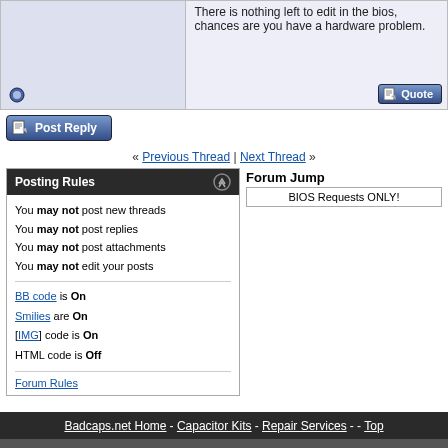There is nothing left to edit in the bios, chances are you have a hardware problem.
[Figure (screenshot): Post Reply button with pencil/paper icon]
« Previous Thread | Next Thread »
Posting Rules
You may not post new threads
You may not post replies
You may not post attachments
You may not edit your posts
BB code is On
Smilies are On
[IMG] code is On
HTML code is Off
Forum Rules
Forum Jump
BIOS Requests ONLY!
Badcaps.net Home - Capacitor Kits - Repair Services - - Top
Badcaps.net Technical Forums © 2003 - 2022
Powered by vBulletin ®
Copyright ©2000 - 2022, Jelsoft Enterprises Ltd.
All times are GMT -6. The time now is 01:31 PM.
Did you find this forum helpful?